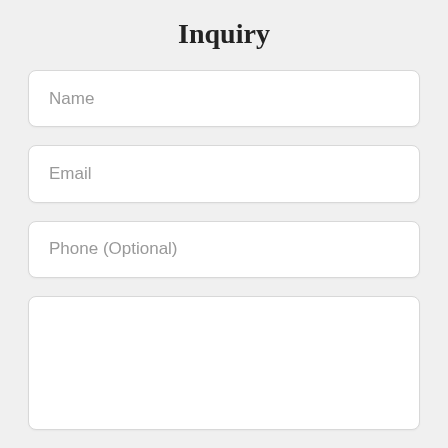Inquiry
Name
Email
Phone (Optional)
[Figure (other): Large empty text area input field]